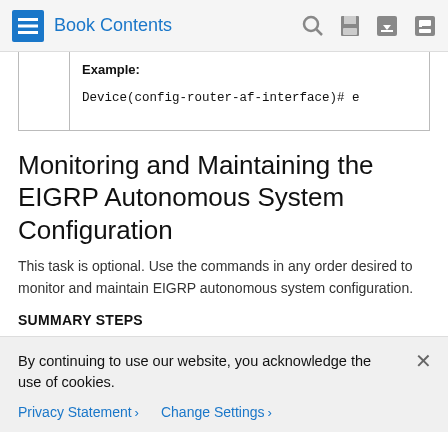Book Contents
|  | Example: |
| --- | --- |
|  | Device(config-router-af-interface)# e |
Monitoring and Maintaining the EIGRP Autonomous System Configuration
This task is optional. Use the commands in any order desired to monitor and maintain EIGRP autonomous system configuration.
SUMMARY STEPS
By continuing to use our website, you acknowledge the use of cookies.
Privacy Statement > Change Settings >